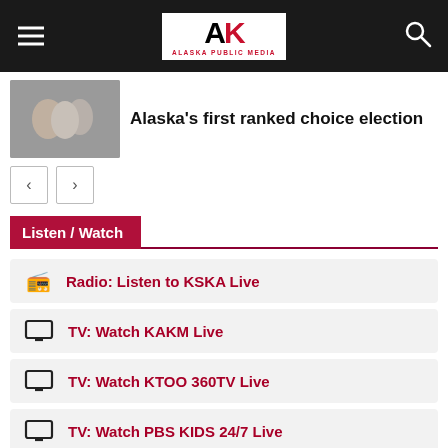Alaska Public Media navigation bar
Alaska's first ranked choice election
Listen / Watch
Radio: Listen to KSKA Live
TV: Watch KAKM Live
TV: Watch KTOO 360TV Live
TV: Watch PBS KIDS 24/7 Live